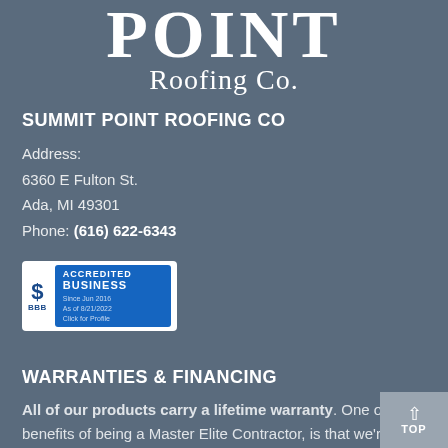[Figure (logo): Summit Point Roofing Co. logo with large serif text 'POINT' and subtitle 'Roofing Co.']
SUMMIT POINT ROOFING CO
Address:
6360 E Fulton St.
Ada, MI 49301
Phone: (616) 622-6343
[Figure (logo): BBB Accredited Business badge. Since Jun 2016. As of 8/21/2022. Click for Profile.]
WARRANTIES & FINANCING
All of our products carry a lifetime warranty. One of the benefits of being a Master Elite Contractor, is that we're able to offer warranties that other roofing suppliers simply can't offer.